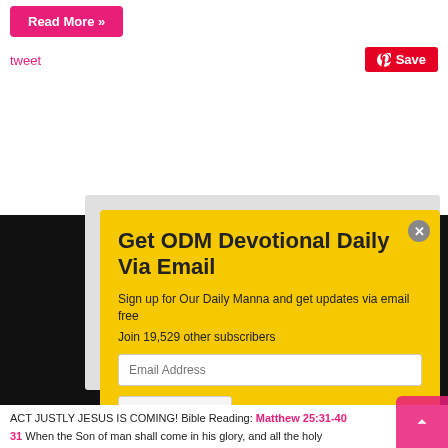[Figure (screenshot): Read More button (pink/magenta background, white text)]
tweet
[Figure (screenshot): Pinterest Save button (red background, white text with Pinterest logo)]
Get ODM Devotional Daily Via Email
Sign up for Our Daily Manna and get updates via email free
Join 19,529 other subscribers
Email Address (input field)
Sign Me Up (button)
ACT JUSTLY JESUS IS COMING! Bible Reading: Matthew 25:31-40
31 When the Son of man shall come in his glory, and all the holy